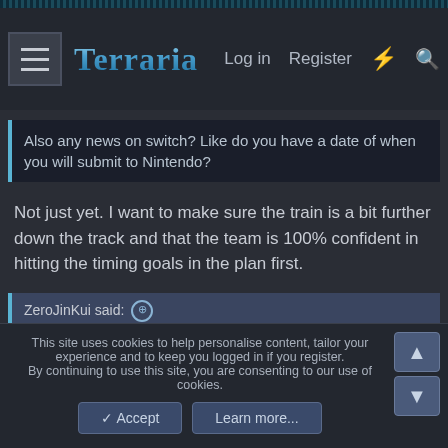Terraria — Log in | Register
Also any news on switch? Like do you have a date of when you will submit to Nintendo?
Not just yet. I want to make sure the train is a bit further down the track and that the team is 100% confident in hitting the timing goals in the plan first.
ZeroJinKui said: ⊕
probably won't see that until next christmas.
I'll take that bet.
This site uses cookies to help personalise content, tailor your experience and to keep you logged in if you register.
By continuing to use this site, you are consenting to our use of cookies.